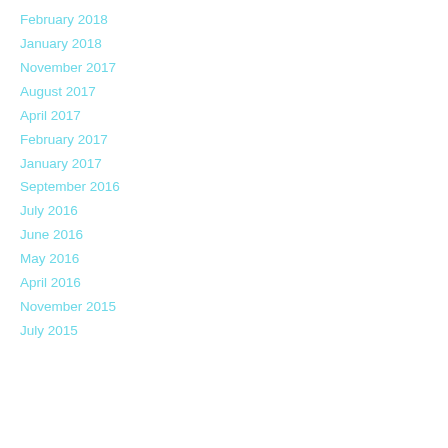February 2018
January 2018
November 2017
August 2017
April 2017
February 2017
January 2017
September 2016
July 2016
June 2016
May 2016
April 2016
November 2015
July 2015